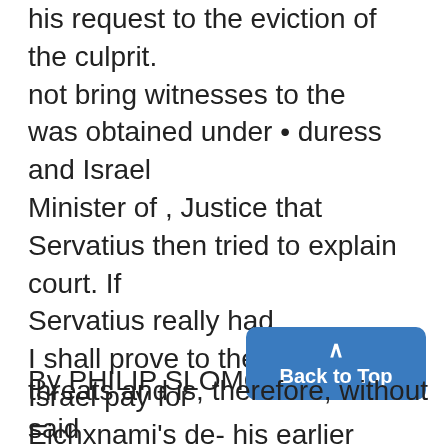his request to the eviction of the culprit. not bring witnesses to the was obtained under • duress and Israel Minister of , Justice that Servatius then tried to explain court. If Servatius really had I shall prove to the court that Israel pay for Eichxnami's de- his earlier remarks about the German witnesses with rele- it was made under presSure and fense on that statement. He composition of the court. He said vant testimony,
By PHILIP SLOMOVITZ
threats and is, therefore, without said